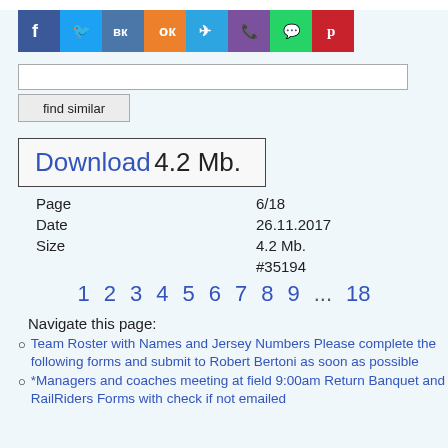[Figure (other): Social media sharing icons bar: Facebook (blue), Twitter (light blue), VK (steel blue), Odnoklassniki (orange), Telegram (cyan), Viber (purple), WhatsApp (green), Pinterest (red)]
[Figure (other): Search input box and 'find similar' button]
Download 4.2 Mb.
| Page | 6/18 |
| Date | 26.11.2017 |
| Size | 4.2 Mb. |
|  | #35194 |
1 2 3 4 5 6 7 8 9 ... 18
Navigate this page:
Team Roster with Names and Jersey Numbers Please complete the following forms and submit to Robert Bertoni as soon as possible
*Managers and coaches meeting at field 9:00am Return Banquet and RailRiders Forms with check if not emailed